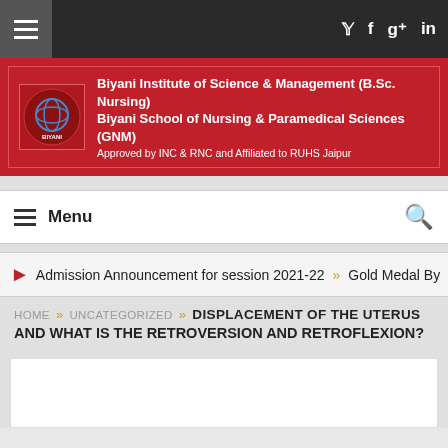Biyani Institute of Science & Management (B.Sc. Nursing) Biyani School of Nursing & Paramedical Sciences (GNM) Approved by INC & RNC and Affiliated to RUHS Jaipur
Menu
Admission Announcement for session 2021-22 » Gold Medal By
HOME » UNCATEGORIZED » DISPLACEMENT OF THE UTERUS AND WHAT IS THE RETROVERSION AND RETROFLEXION?
DISPLACEMENT OF THE UTERUS AND WHAT IS THE RETROVERSION AND RETROFLEXION?